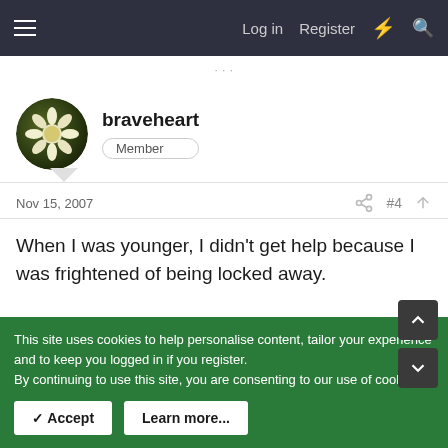Log in  Register
braveheart
Member
Nov 15, 2007  #4
When I was younger, I didn't get help because I was frightened of being locked away.
You must log in or register to reply here.
This site uses cookies to help personalise content, tailor your experience and to keep you logged in if you register.
By continuing to use this site, you are consenting to our use of cookies.
✓ Accept    Learn more...